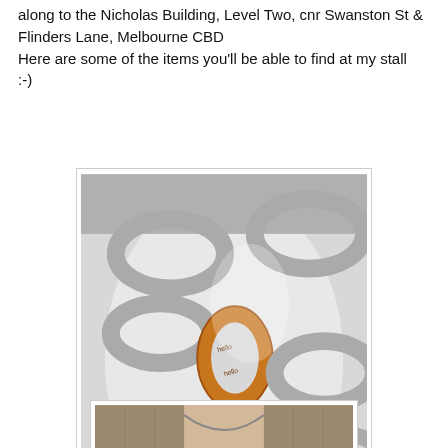along to the Nicholas Building, Level Two, cnr Swanston St & Flinders Lane, Melbourne CBD
Here are some of the items you'll be able to find at my stall
:-)
[Figure (photo): Close-up photo of a grey knitted/crocheted chain-link necklace on a white mannequin, with a wooden oval link in the center engraved with text.]
[Figure (photo): Partial photo of a person wearing a long necklace, showing the chest/collar area.]